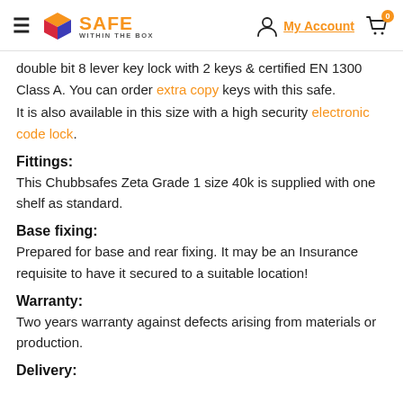SAFE WITHIN THE BOX — My Account — Cart (0)
double bit 8 lever key lock with 2 keys & certified EN 1300 Class A. You can order extra copy keys with this safe. It is also available in this size with a high security electronic code lock.
Fittings:
This Chubbsafes Zeta Grade 1 size 40k is supplied with one shelf as standard.
Base fixing:
Prepared for base and rear fixing. It may be an Insurance requisite to have it secured to a suitable location!
Warranty:
Two years warranty against defects arising from materials or production.
Delivery: